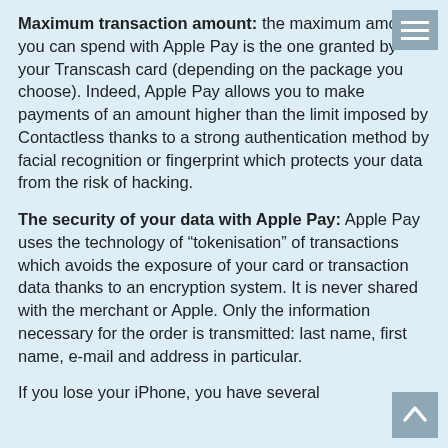Maximum transaction amount: the maximum amount you can spend with Apple Pay is the one granted by your Transcash card (depending on the package you choose). Indeed, Apple Pay allows you to make payments of an amount higher than the limit imposed by Contactless thanks to a strong authentication method by facial recognition or fingerprint which protects your data from the risk of hacking.
The security of your data with Apple Pay: Apple Pay uses the technology of “tokenisation” of transactions which avoids the exposure of your card or transaction data thanks to an encryption system. It is never shared with the merchant or Apple. Only the information necessary for the order is transmitted: last name, first name, e-mail and address in particular.
If you lose your iPhone, you have several